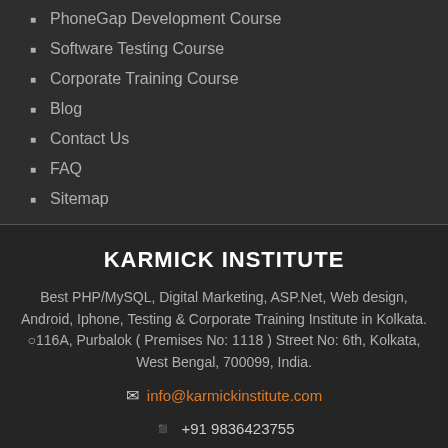PhoneGap Development Course
Software Testing Course
Corporate Training Course
Blog
Contact Us
FAQ
Sitemap
KARMICK INSTITUTE
Best PHP/MySQL, Digital Marketing, ASP.Net, Web design, Android, Iphone, Testing & Corporate Training Institute in Kolkata. 116A, Purbalok ( Premises No: 1118 ) Street No: 6th, Kolkata, West Bengal, 700099, India.
info@karmickinstitute.com
+91 9836423755
KarmickInstitute Feedback